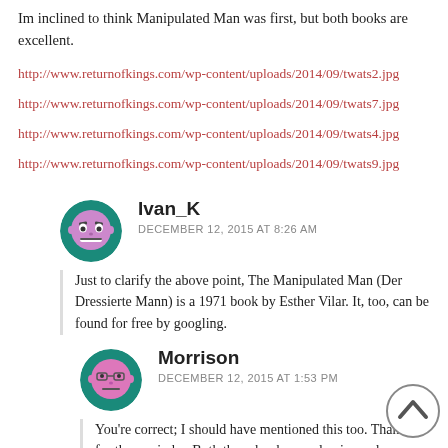Im inclined to think Manipulated Man was first, but both books are excellent.
http://www.returnofkings.com/wp-content/uploads/2014/09/twats2.jpg
http://www.returnofkings.com/wp-content/uploads/2014/09/twats7.jpg
http://www.returnofkings.com/wp-content/uploads/2014/09/twats4.jpg
http://www.returnofkings.com/wp-content/uploads/2014/09/twats9.jpg
Ivan_K
DECEMBER 12, 2015 AT 8:26 AM
Just to clarify the above point, The Manipulated Man (Der Dressierte Mann) is a 1971 book by Esther Vilar. It, too, can be found for free by googling.
Morrison
DECEMBER 12, 2015 AT 1:53 PM
You're correct; I should have mentioned this too. Thanks for the reminder. Both these books are classics and normally I dont condone pulling a freebie book that technically copyrighted, but with the NGO s handing out one hundred thousand copies of feminist propaganda to boys at primary schools, the manosphere has to